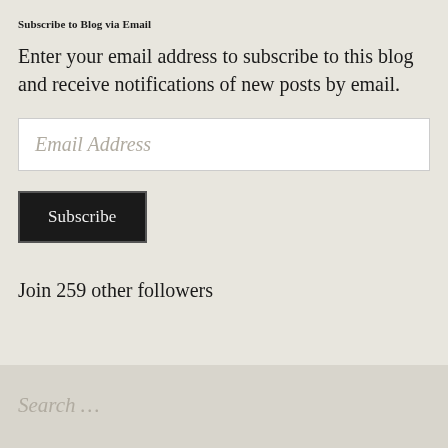Subscribe to Blog via Email
Enter your email address to subscribe to this blog and receive notifications of new posts by email.
Join 259 other followers
Search …